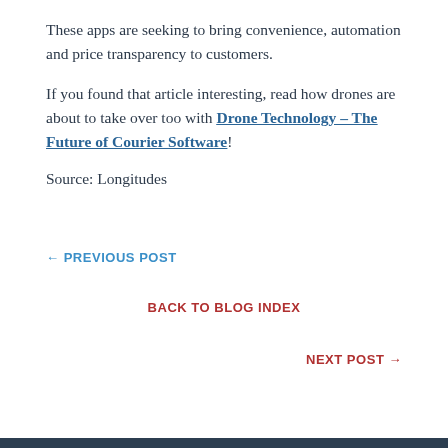faxes and price hagging.
These apps are seeking to bring convenience, automation and price transparency to customers.
If you found that article interesting, read how drones are about to take over too with Drone Technology – The Future of Courier Software!
Source: Longitudes
← PREVIOUS POST
BACK TO BLOG INDEX
NEXT POST →